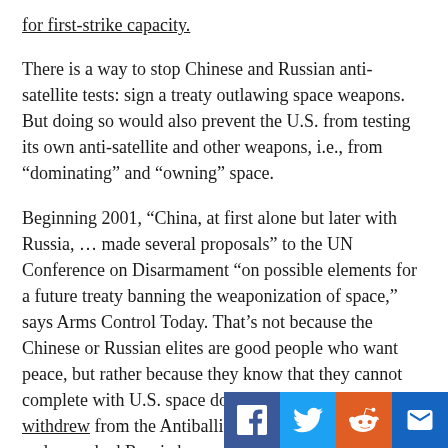for first-strike capacity.
There is a way to stop Chinese and Russian anti-satellite tests: sign a treaty outlawing space weapons. But doing so would also prevent the U.S. from testing its own anti-satellite and other weapons, i.e., from “dominating” and “owning” space.
Beginning 2001, “China, at first alone but later with Russia, … made several proposals” to the UN Conference on Disarmament “on possible elements for a future treaty banning the weaponization of space,” says Arms Control Today. That’s not because the Chinese or Russian elites are good people who want peace, but rather because they know that they cannot complete with U.S. space domination. In 2002, Bush withdrew from the Antiballistic Missile Treaty 1972 and provoked Russia by constructing a missile system in Eastern Europe. In June of that year, Russia and China proposed a treaty committing signatories to [...]